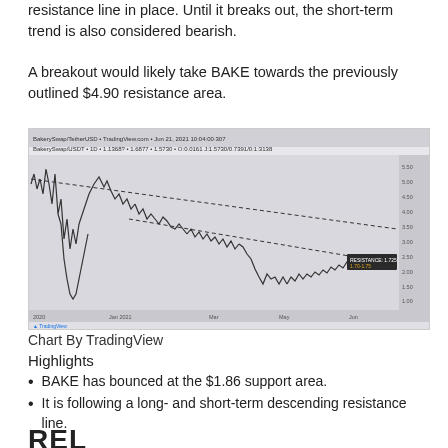resistance line in place. Until it breaks out, the short-term trend is also considered bearish.
A breakout would likely take BAKE towards the previously outlined $4.90 resistance area.
[Figure (continuous-plot): TradingView candlestick chart for BAKE showing a descending resistance line (dotted) from upper left to lower right, with price action bouncing near $1.86 support. The chart shows a long-term bearish trend with a descending channel pattern. A label on the right shows approximately 1.70-1.75 price level.]
Chart By TradingView
Highlights
BAKE has bounced at the $1.86 support area.
It is following a long- and short-term descending resistance line.
REL